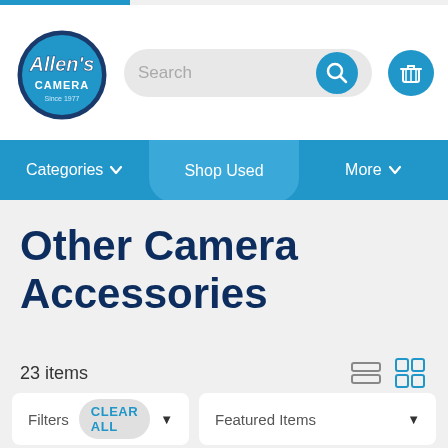[Figure (screenshot): Allen's Camera website screenshot showing navigation header with logo, search bar, cart button, category navigation bar, and Other Camera Accessories page listing with 23 items, filters, and sort controls]
Allen's Camera
Categories  Shop Used  More
Other Camera Accessories
23 items
Filters  CLEAR ALL  Featured Items